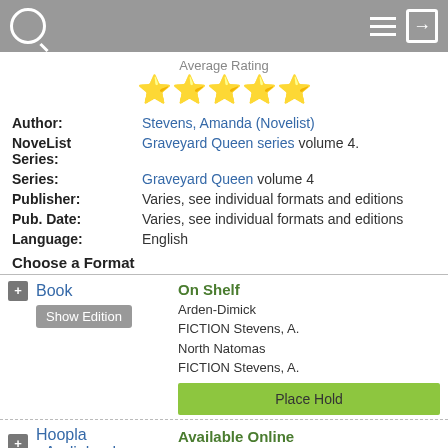Library catalog page header with search and menu icons
Average Rating
[Figure (other): Five yellow star rating icons]
Author: Stevens, Amanda (Novelist)
NoveList Series: Graveyard Queen series volume 4.
Series: Graveyard Queen volume 4
Publisher: Varies, see individual formats and editions
Pub. Date: Varies, see individual formats and editions
Language: English
Choose a Format
Book - On Shelf - Arden-Dimick FICTION Stevens, A. - North Natomas FICTION Stevens, A. - Place Hold
Hoopla eAudiobook - Available Online - Online Hoopla Collection